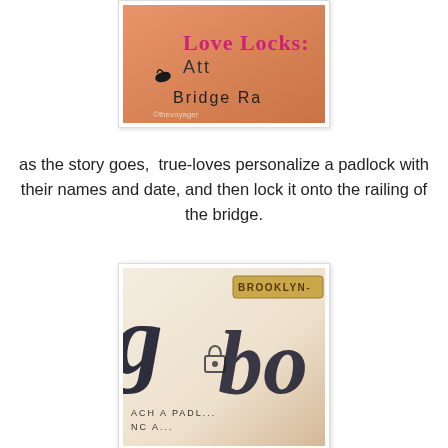[Figure (photo): Cropped top portion of an illustrated image showing text 'Love Locks: Att... Bridge Ra...' with colorful lettering on an orange/warm background]
as the story goes,  true-loves personalize a padlock with their names and date, and then lock it onto the railing of the bridge.
[Figure (photo): Close-up photo of decorative calligraphy/illustration showing cursive script letters and a small padlock charm, with text 'Brooklyn...' and 'Attach a Padl...' visible, on a textured paper background]